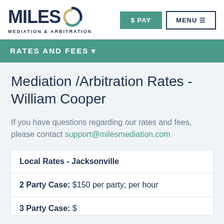MILES MEDIATION & ARBITRATION
RATES AND FEES
Mediation /Arbitration Rates - William Cooper
If you have questions regarding our rates and fees, please contact support@milesmediation.com
| Local Rates - Jacksonville |
| --- |
| 2 Party Case: $150 per party; per hour |
| 3 Party Case: $... |
2 Party Case: $150 per party; per hour